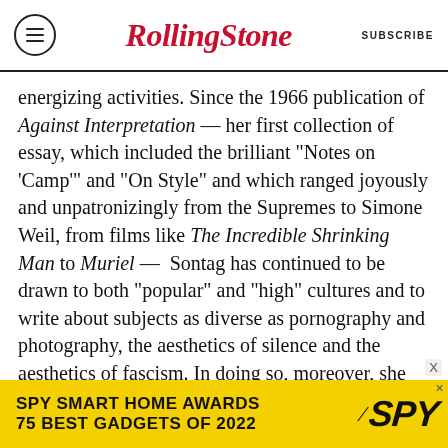RollingStone | SUBSCRIBE
energizing activities. Since the 1966 publication of Against Interpretation — her first collection of essay, which included the brilliant "Notes on 'Camp'" and "On Style" and which ranged joyously and unpatronizingly from the Supremes to Simone Weil, from films like The Incredible Shrinking Man to Muriel —  Sontag has continued to be drawn to both "popular" and "high" cultures and to write about subjects as diverse as pornography and photography, the aesthetics of silence and the aesthetics of fascism. In doing so, moreover, she has been continually examining and testing out her notion that supposed oppositions like thinking and feeling,
[Figure (other): SPY Smart Home Awards advertisement banner: yellow background, bold black text reading 'SPY SMART HOME AWARDS / 75 BEST GADGETS OF 2022' with SPY logo in italic bold.]